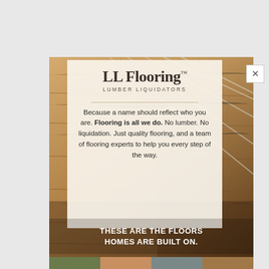[Figure (illustration): LL Flooring advertisement showing wood flooring background with a white semi-transparent card overlay containing the LL Flooring logo, tagline text, and the slogan 'THESE ARE THE FLOORS HOMES ARE BUILT ON.' at the bottom.]
LL Flooring™ LUMBER LIQUIDATORS
Because a name should reflect who you are. Flooring is all we do. No lumber. No liquidation. Just quality flooring, and a team of flooring experts to help you every step of the way.
THESE ARE THE FLOORS HOMES ARE BUILT ON.